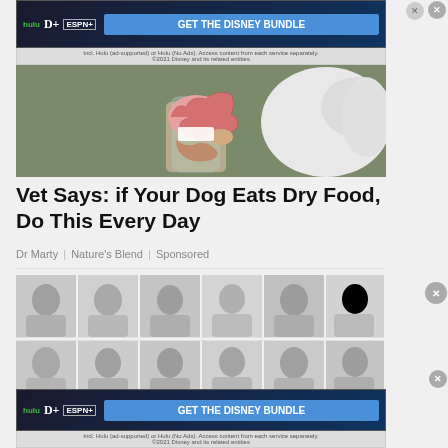[Figure (screenshot): Hulu / Disney+ / ESPN+ ad banner at top with GET THE DISNEY BUNDLE CTA button]
[Figure (illustration): Illustration of a dog's digestive/brain anatomy held in hand, olive green background]
Vet Says: if Your Dog Eats Dry Food, Do This Every Day
Dr Marty | Nature's Blend | Sponsored
[Figure (photo): Grid of black and white portrait photos of various people, two rows of six]
[Figure (screenshot): Hulu / Disney+ / ESPN+ ad banner at bottom with GET THE DISNEY BUNDLE CTA button]